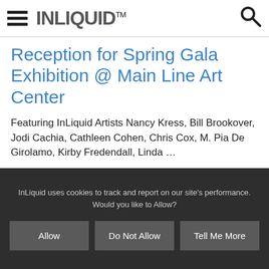INLIQUID™
Reception for Spring Gala Exhibition @ Main Line Art Center
Featuring InLiquid Artists Nancy Kress, Bill Brookover, Jodi Cachia, Cathleen Cohen, Chris Cox, M. Pia De Girolamo, Kirby Fredendall, Linda …
Click for more info
InLiquid uses cookies to track and report on our site's performance. Would you like to Allow?
Allow
Do Not Allow
Tell Me More